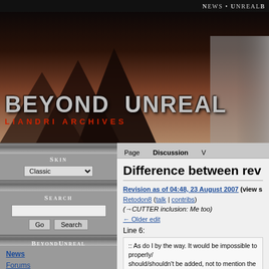News • UnrealB
[Figure (logo): Beyond Unreal Liandri Archives banner logo with dark fantasy mountain background]
Page  Discussion  V
Skin
Classic
Search
BeyondUnreal
News
Forums
FileWorks
Liandri
Difference between rev
Revision as of 04:48, 23 August 2007 (view s
Retodon8 (talk | contribs)
(→CUTTER inclusion: Me too)
← Older edit
Line 6:
:: As do I by the way. It would be impossible to properly/
should/shouldn't be added, not to mention the already m
noise to the article... minus for those that happened to k
[[User:Retodon8|Retodon8]] 06:48, 23 August 2007 (ED